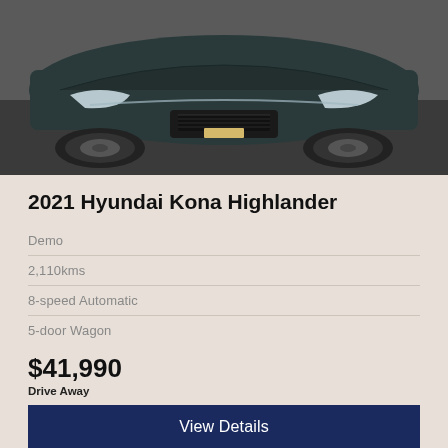[Figure (photo): Front/top view of a dark-colored Hyundai Kona SUV photographed from above and front angle on a grey surface]
2021 Hyundai Kona Highlander
Demo
2,110kms
8-speed Automatic
5-door Wagon
$41,990
Drive Away
View Details